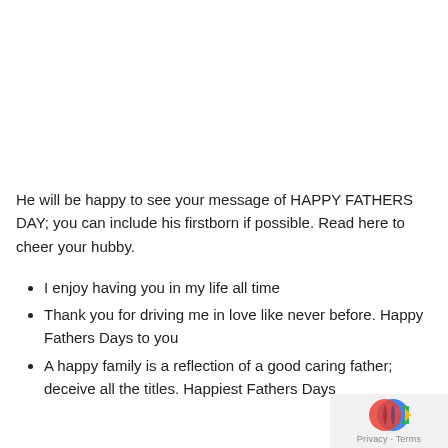He will be happy to see your message of HAPPY FATHERS DAY; you can include his firstborn if possible. Read here to cheer your hubby.
I enjoy having you in my life all time
Thank you for driving me in love like never before. Happy Fathers Days to you
A happy family is a reflection of a good caring father; deceive all the titles. Happiest Fathers Days